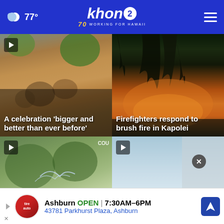🌙☁ 77° | khon2 70 years WORKING FOR HAWAII | Menu
[Figure (photo): Video thumbnail of a crowd celebration with people raising hands, play button overlay. Headline: A celebration 'bigger and better than ever before']
[Figure (photo): Video thumbnail of trees silhouetted against an orange fire glow at dusk. Headline: Firefighters respond to brush fire in Kapolei]
[Figure (photo): Video thumbnail of water spray in green foliage, play button overlay, COU label]
[Figure (photo): Video thumbnail with blue/light background, play button overlay, close button overlay]
Ashburn OPEN | 7:30AM–6PM
43781 Parkhurst Plaza, Ashburn